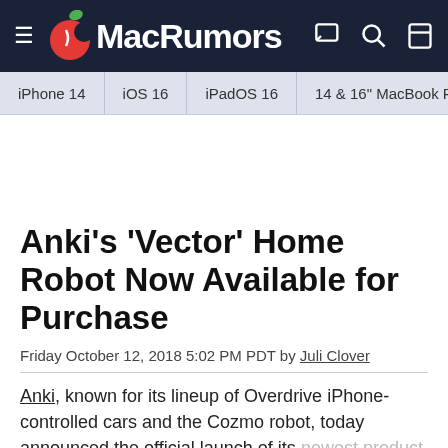MacRumors
iPhone 14 | iOS 16 | iPadOS 16 | 14 & 16" MacBook P
Anki's 'Vector' Home Robot Now Available for Purchase
Friday October 12, 2018 5:02 PM PDT by Juli Clover
Anki, known for its lineup of Overdrive iPhone-controlled cars and the Cozmo robot, today announced the official launch of its newest product, the Vector home robot.
Vector is built to ...